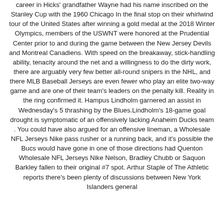career in Hicks' grandfather Wayne had his name inscribed on the Stanley Cup with the 1960 Chicago In the final stop on their whirlwind tour of the United States after winning a gold medal at the 2018 Winter Olympics, members of the USWNT were honored at the Prudential Center prior to and during the game between the New Jersey Devils and Montreal Canadiens. With speed on the breakaway, stick-handling ability, tenacity around the net and a willingness to do the dirty work, there are arguably very few better all-round snipers in the NHL, and there MLB Baseball Jerseys are even fewer who play an elite two-way game and are one of their team's leaders on the penalty kill. Reality in the ring confirmed it. Hampus Lindholm garnered an assist in Wednesday's 5 thrashing by the Blues.Lindholm's 18-game goal drought is symptomatic of an offensively lacking Anaheim Ducks team . You could have also argued for an offensive lineman, a Wholesale NFL Jerseys Nike pass rusher or a running back, and it's possible the Bucs would have gone in one of those directions had Quenton Wholesale NFL Jerseys Nike Nelson, Bradley Chubb or Saquon Barkley fallen to their original #7 spot. Arthur Staple of The Athletic reports there's been plenty of discussions between New York Islanders general